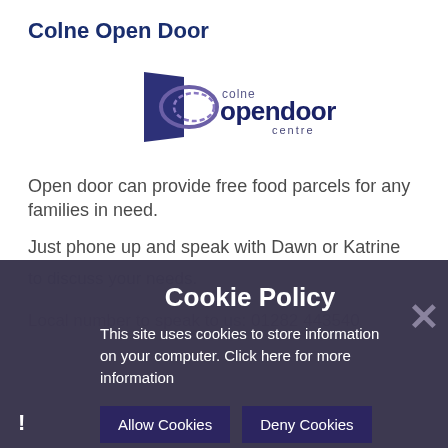Colne Open Door
[Figure (logo): Colne Open Door Centre logo with blue door shape and circular swirl, text reads 'colne opendoor centre']
Open door can provide free food parcels for any families in need.
Just phone up and speak with Dawn or Katrine to discuss your needs.
Local number to speak to us: 01282 443540
Cookie Policy
This site uses cookies to store information on your computer. Click here for more information
Allow Cookies   Deny Cookies